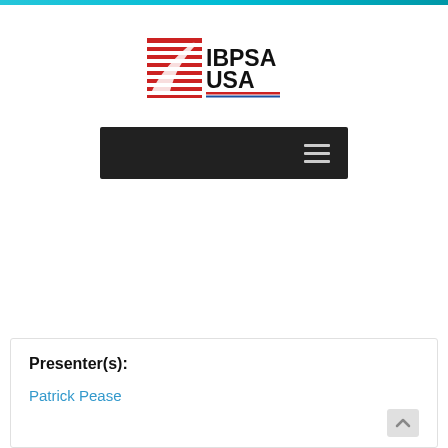[Figure (logo): IBPSA USA logo with red and white striped icon and text 'IBPSA USA' with red and blue underline stripes]
[Figure (screenshot): Dark navigation bar with hamburger menu icon (three horizontal lines) on the right side]
Presenter(s):
Patrick Pease